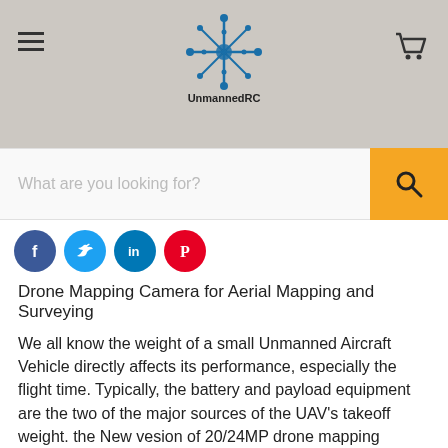UnmannedRC
Drone Mapping Camera for Aerial Mapping and Surveying
We all know the weight of a small Unmanned Aircraft Vehicle directly affects its performance, especially the flight time. Typically, the battery and payload equipment are the two of the major sources of the UAV's takeoff weight. the New vesion of 20/24MP drone mapping camera -ADTi Surveyor Lite, it has only 105 g without lens, with our new version of light weight 35/25mm F5.6 fixed lens, it has ONLY 138 g! This professional drone mapping camera is the impressive solution of all mapping, inspection, and aerial photography drones. it is durable and easy to mount on any